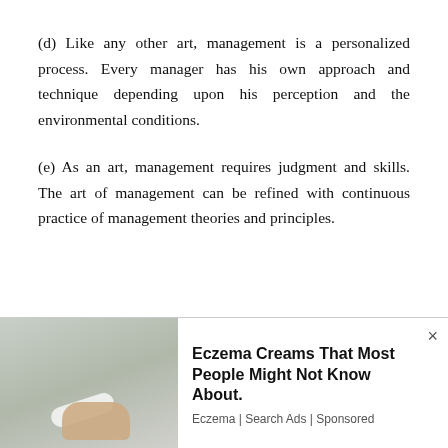(d) Like any other art, management is a personalized process. Every manager has his own approach and technique depending upon his perception and the environmental conditions.
(e) As an art, management requires judgment and skills. The art of management can be refined with continuous practice of management theories and principles.
We use cookies on our website to give you the most relevant experience by remembering your preferences and repeat visits. By clicking “Accept”, you consent to the use of ALL the cookies. Do not sell my personal information.
[Figure (infographic): Advertisement banner: Image of a hand holding a small pill/cream tube on the left. Text on the right reads 'Eczema Creams That Most People Might Not Know About.' with source 'Eczema | Search Ads | Sponsored'. Close button (x) in top right.]